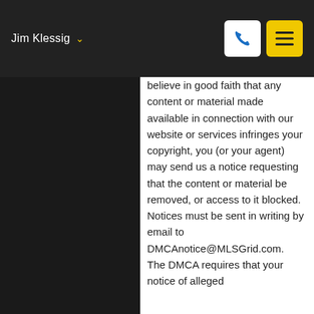Jim Klessig
believe in good faith that any content or material made available in connection with our website or services infringes your copyright, you (or your agent) may send us a notice requesting that the content or material be removed, or access to it blocked. Notices must be sent in writing by email to DMCAnotice@MLSGrid.com. The DMCA requires that your notice of alleged